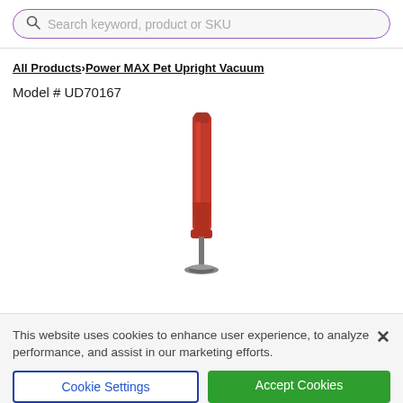[Figure (screenshot): Search bar with magnifying glass icon and placeholder text 'Search keyword, product or SKU', purple border, rounded rectangle]
All Products > Power MAX Pet Upright Vacuum
Model # UD70167
[Figure (photo): Red upright vacuum cleaner (Power MAX Pet Upright Vacuum, Model UD70167) shown vertically, mostly top portion visible]
This website uses cookies to enhance user experience, to analyze performance, and assist in our marketing efforts.
Cookie Settings
Accept Cookies